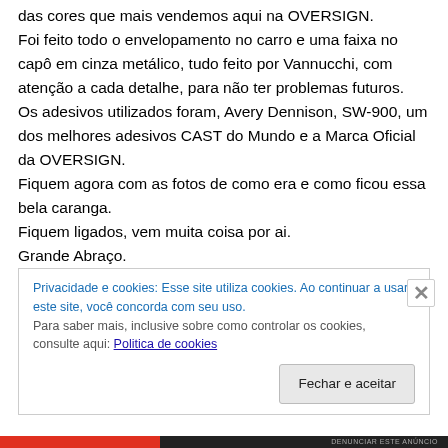das cores que mais vendemos aqui na OVERSIGN. Foi feito todo o envelopamento no carro e uma faixa no capô em cinza metálico, tudo feito por Vannucchi, com atenção a cada detalhe, para não ter problemas futuros. Os adesivos utilizados foram, Avery Dennison, SW-900, um dos melhores adesivos CAST do Mundo e a Marca Oficial da OVERSIGN. Fiquem agora com as fotos de como era e como ficou essa bela caranga. Fiquem ligados, vem muita coisa por ai. Grande Abraço.
Privacidade e cookies: Esse site utiliza cookies. Ao continuar a usar este site, você concorda com seu uso. Para saber mais, inclusive sobre como controlar os cookies, consulte aqui: Politica de cookies
Fechar e aceitar